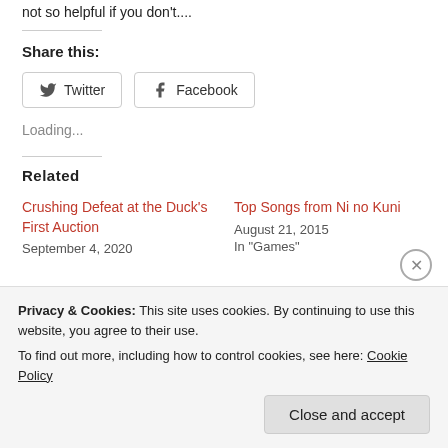not so helpful if you don't....
Share this:
Twitter  Facebook
Loading...
Related
Crushing Defeat at the Duck's First Auction
September 4, 2020
Top Songs from Ni no Kuni
August 21, 2015
In "Games"
Privacy & Cookies: This site uses cookies. By continuing to use this website, you agree to their use.
To find out more, including how to control cookies, see here: Cookie Policy
Close and accept